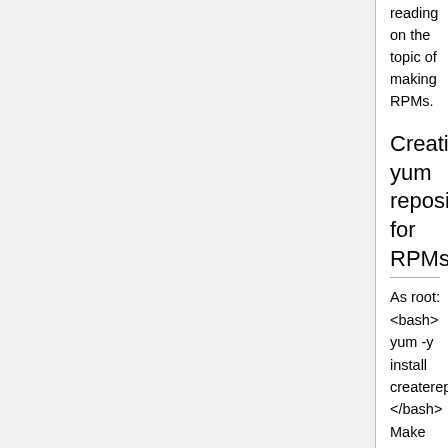reading on the topic of making RPMs.
Creating yum repositories for RPMs
As root: <bash> yum -y install createrepo </bash> Make the repo directory as a regular user, i.e. <bash> mkdir -p /var/$USER/repo/fedora/12/{SRPMS,x86_64} </bash> You may have RPMs for more architectures, for other versions, for other distros... make directories as needed.
Copy your RPMs in the appropriate directories, then in each directory (in this case, SRPMS and x86_64), run <bash> createrepo . </bash> Tarball the whole repo directory and upload it to your web host, then unpack it there in the desired